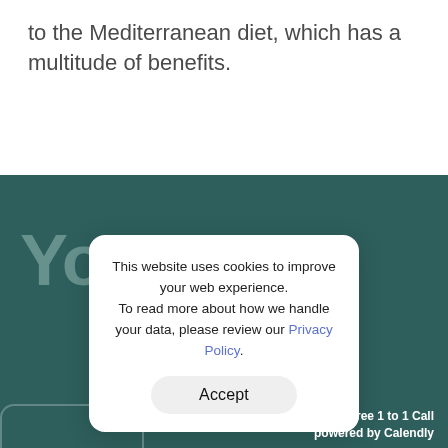to the Mediterranean diet, which has a multitude of benefits.
Your Next
This website uses cookies to improve your web experience. To read more about how we handle your data, please review our Privacy Policy.
Accept
Free 1 to 1 Call
powered by Calendly